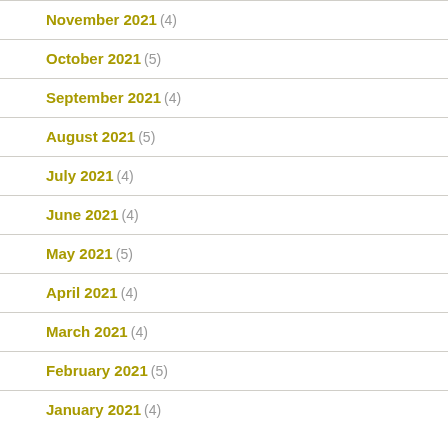November 2021 (4)
October 2021 (5)
September 2021 (4)
August 2021 (5)
July 2021 (4)
June 2021 (4)
May 2021 (5)
April 2021 (4)
March 2021 (4)
February 2021 (5)
January 2021 (4)